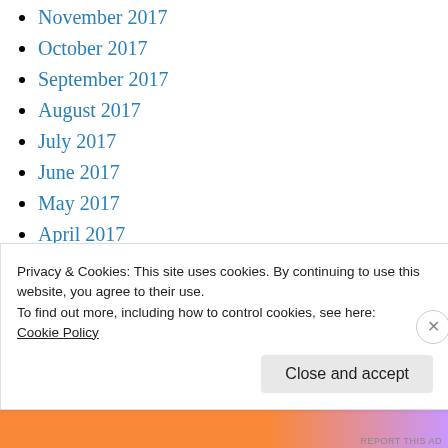November 2017
October 2017
September 2017
August 2017
July 2017
June 2017
May 2017
April 2017
March 2017
February 2017
January 2017
Privacy & Cookies: This site uses cookies. By continuing to use this website, you agree to their use.
To find out more, including how to control cookies, see here:
Cookie Policy
Close and accept